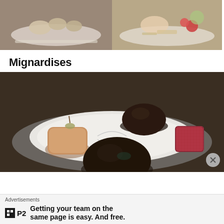[Figure (photo): Two food photos side by side at top of page: left shows a dessert on a white plate, right shows a dessert with strawberries and crumble on a white plate]
Mignardises
[Figure (photo): Photo of mignardises on a silver plate: a small muffin/financier with a pear stem, two dark chocolate domes, and a red sugar-dusted pate de fruit/jelly candy, displayed on a white decorative plate on a silver tray]
Advertisements
Getting your team on the same page is easy. And free.